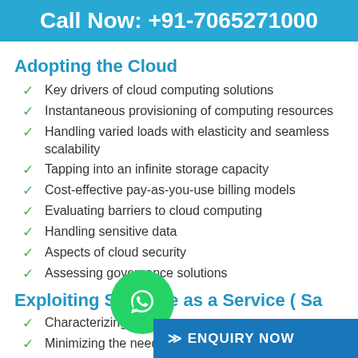Call Now: +91-7065271000
Adopting the Cloud
Key drivers of cloud computing solutions
Instantaneous provisioning of computing resources
Handling varied loads with elasticity and seamless scalability
Tapping into an infinite storage capacity
Cost-effective pay-as-you-use billing models
Evaluating barriers to cloud computing
Handling sensitive data
Aspects of cloud security
Assessing governance solutions
Exploiting Software as a Service ( Sa...
Characterizing SaaS
Minimizing the need for local hardware and software
Streamlining administra...